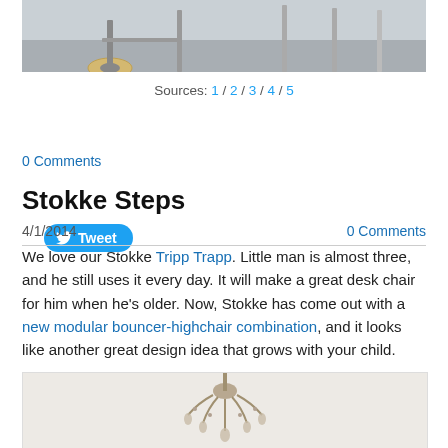[Figure (photo): Top portion of a photo showing chair/stroller legs on a concrete floor]
Sources: 1 / 2 / 3 / 4 / 5
[Figure (other): Twitter Tweet button (blue rounded rectangle with bird icon and 'Tweet' text)]
0 Comments
Stokke Steps
4/1/2014
0 Comments
We love our Stokke Tripp Trapp. Little man is almost three, and he still uses it every day. It will make a great desk chair for him when he's older. Now, Stokke has come out with a new modular bouncer-highchair combination, and it looks like another great design idea that grows with your child.
[Figure (photo): Bottom portion of a photo showing an ornate chandelier against a light background]